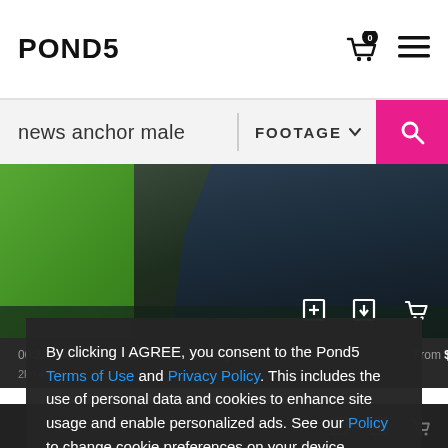POND5
news anchor male | FOOTAGE
[Figure (screenshot): Video thumbnail showing a male news anchor in a dark suit against a green screen background. Video controls visible at bottom right.]
00:32  Male Television Anchor Is Talking Abo...   From $79
2k | 4K
By clicking I AGREE, you consent to the Pond5 Terms of Use and Privacy Policy. This includes the use of personal data and cookies to enhance site usage and enable personalized ads. See our Policy to change cookie preferences on your device.
I AGREE